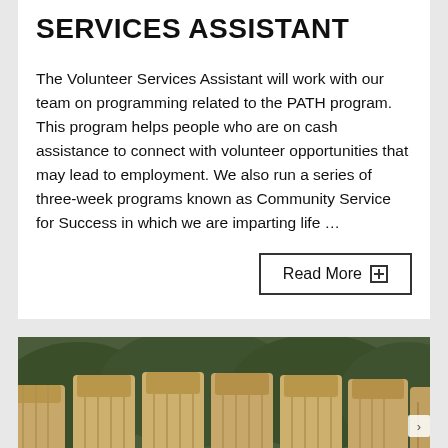SERVICES ASSISTANT
The Volunteer Services Assistant will work with our team on programming related to the PATH program. This program helps people who are on cash assistance to connect with volunteer opportunities that may lead to employment. We also run a series of three-week programs known as Community Service for Success in which we are imparting life …
Read More +
[Figure (photo): Row of large brown burlap/paper sacks standing upright on grass with green trees/shrubs in background]